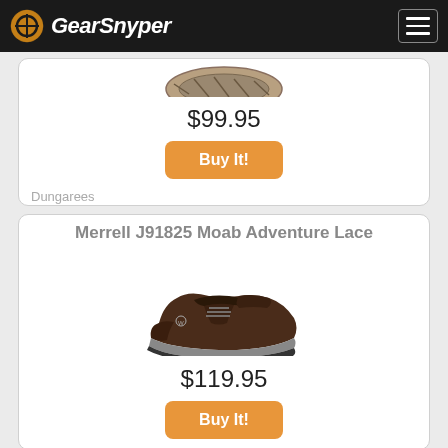GearSnyper
[Figure (photo): Partial view of a shoe sole/bottom (cut off), part of first product card]
$99.95
Buy It!
Dungarees
Merrell J91825 Moab Adventure Lace
[Figure (photo): Brown leather Merrell J91825 Moab Adventure Lace hiking shoe, side view]
$119.95
Buy It!